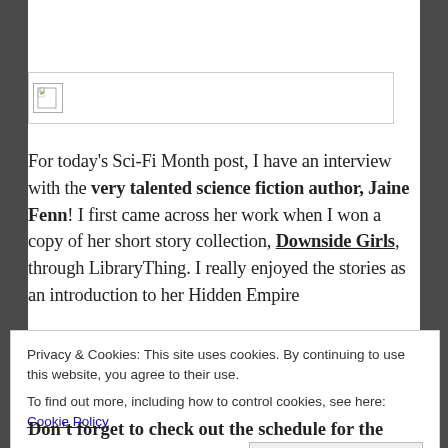[Figure (other): Broken image placeholder with document icon]
For today's Sci-Fi Month post, I have an interview with the very talented science fiction author, Jaine Fenn! I first came across her work when I won a copy of her short story collection, Downside Girls, through LibraryThing. I really enjoyed the stories as an introduction to her Hidden Empire
Privacy & Cookies: This site uses cookies. By continuing to use this website, you agree to their use. To find out more, including how to control cookies, see here: Cookie Policy
Close and accept
Don't forget to check out the schedule for the rest of